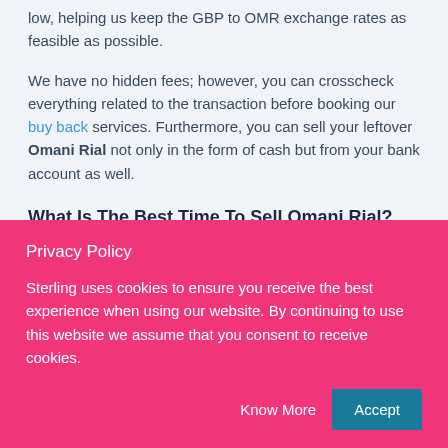low, helping us keep the GBP to OMR exchange rates as feasible as possible.
We have no hidden fees; however, you can crosscheck everything related to the transaction before booking our buy back services. Furthermore, you can sell your leftover Omani Rial not only in the form of cash but from your bank account as well.
What Is The Best Time To Sell Omani Rial?
Since currency exchange rates keep fluctuating with the market dynamics, there is no fixed time to sell your Omani Rial. However
Privacy Policy
Sterling uses cookies to ensure you receive the best experience when using our website. By continuing to use this website we assume that you consent to receive cookies.